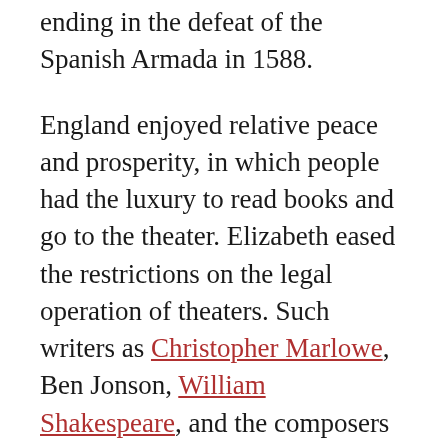ending in the defeat of the Spanish Armada in 1588.
England enjoyed relative peace and prosperity, in which people had the luxury to read books and go to the theater. Elizabeth eased the restrictions on the legal operation of theaters. Such writers as Christopher Marlowe, Ben Jonson, William Shakespeare, and the composers Thomas Tallis and William Byrd flourished.
Elizabeth never married and was childless until the end. She preserved England’s sovereignty by rejecting foreign suitors, including King Philip II of Spain, who later sent an armada in the hopes of conquering